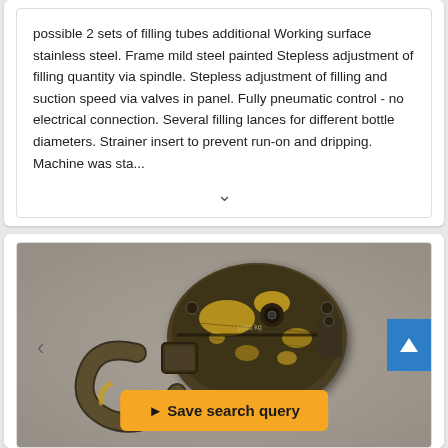possible 2 sets of filling tubes additional Working surface stainless steel. Frame mild steel painted Stepless adjustment of filling quantity via spindle. Stepless adjustment of filling and suction speed via valves in panel. Fully pneumatic control - no electrical connection. Several filling lances for different bottle diameters. Strainer insert to prevent run-on and dripping. Machine was sta...
[Figure (photo): Photo of an old weathered padlock or pulley block with yellow paint chipping off, showing a heavy hook attachment, viewed from above on a grey surface. Navigation arrows visible on left and right sides.]